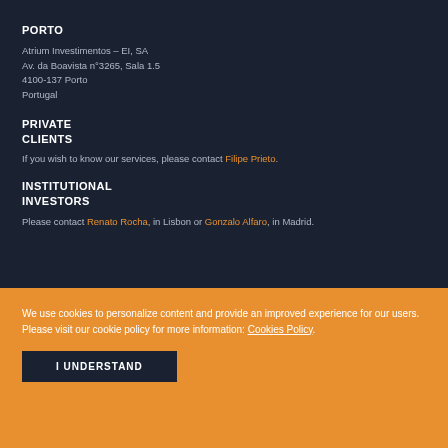PORTO
Atrium Investimentos – EI, SA
Av. da Boavista n°3265, Sala 1.5
4100-137 Porto
Portugal
PRIVATE
CLIENTS
If you wish to know our services, please contact Filipe Prieto.
INSTITUTIONAL
INVESTORS
Please contact Renato Rocha, in Lisbon or Gonzalo Alfaro, in Madrid.
We use cookies to personalize content and provide an improved experience for our users. Please visit our cookie policy for more information: Cookies Policy.
I UNDERSTAND